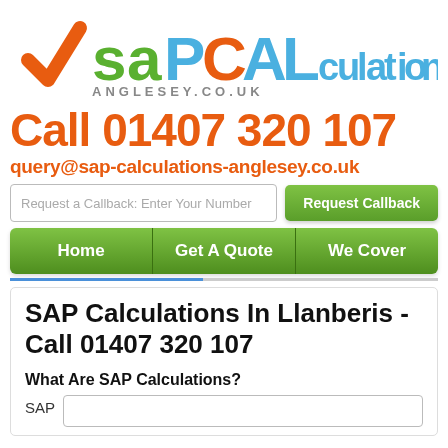[Figure (logo): SAP Calculations Anglesey logo with orange checkmark and green/blue/orange text]
Call 01407 320 107
query@sap-calculations-anglesey.co.uk
Request a Callback: Enter Your Number
Request Callback
Home
Get A Quote
We Cover
SAP Calculations In Llanberis - Call 01407 320 107
What Are SAP Calculations?
SAP